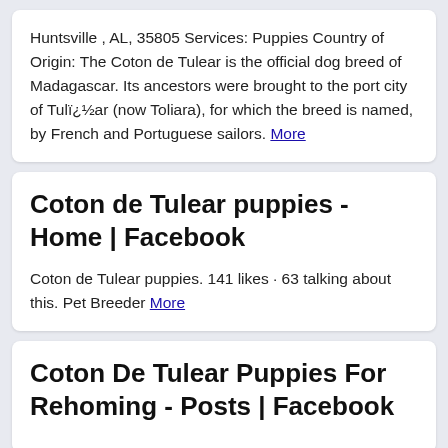Huntsville , AL, 35805 Services: Puppies Country of Origin: The Coton de Tulear is the official dog breed of Madagascar. Its ancestors were brought to the port city of Tulï¿½ar (now Toliara), for which the breed is named, by French and Portuguese sailors. More
Coton de Tulear puppies - Home | Facebook
Coton de Tulear puppies. 141 likes · 63 talking about this. Pet Breeder More
Coton De Tulear Puppies For Rehoming - Posts | Facebook